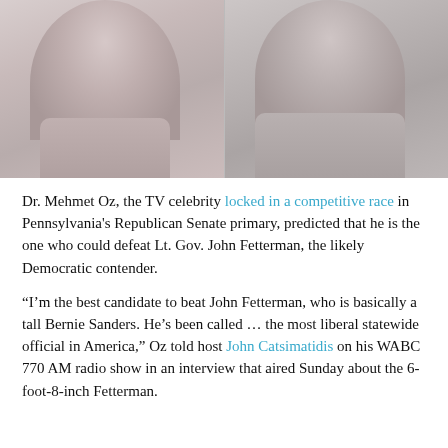[Figure (photo): Side-by-side photo of two men, likely Dr. Mehmet Oz on the left and John Fetterman on the right, in a faded/washed out style]
Dr. Mehmet Oz, the TV celebrity locked in a competitive race in Pennsylvania's Republican Senate primary, predicted that he is the one who could defeat Lt. Gov. John Fetterman, the likely Democratic contender.
“I’m the best candidate to beat John Fetterman, who is basically a tall Bernie Sanders. He’s been called … the most liberal statewide official in America,” Oz told host John Catsimatidis on his WABC 770 AM radio show in an interview that aired Sunday about the 6-foot-8-inch Fetterman.